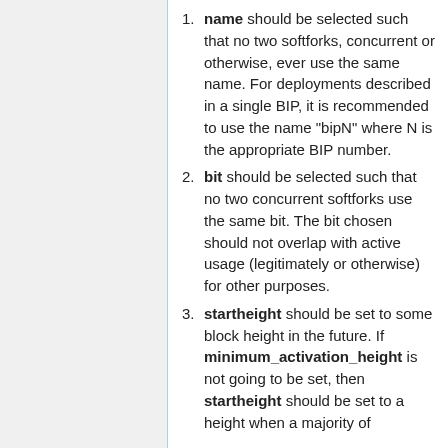name should be selected such that no two softforks, concurrent or otherwise, ever use the same name. For deployments described in a single BIP, it is recommended to use the name "bipN" where N is the appropriate BIP number.
bit should be selected such that no two concurrent softforks use the same bit. The bit chosen should not overlap with active usage (legitimately or otherwise) for other purposes.
startheight should be set to some block height in the future. If minimum_activation_height is not going to be set, then startheight should be set to a height when a majority of